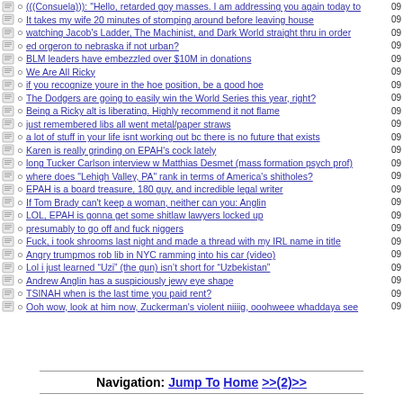(((Consuela))): "Hello, retarded goy masses. I am addressing you again today to | 09
It takes my wife 20 minutes of stomping around before leaving house | 09
watching Jacob's Ladder, The Machinist, and Dark World straight thru in order | 09
ed orgeron to nebraska if not urban? | 09
BLM leaders have embezzled over $10M in donations | 09
We Are All Ricky | 09
if you recognize youre in the hoe position, be a good hoe | 09
The Dodgers are going to easily win the World Series this year, right? | 09
Being a Ricky alt is liberating. Highly recommend it not flame | 09
just remembered libs all went metal/paper straws | 09
a lot of stuff in your life isnt working out bc there is no future that exists | 09
Karen is really grinding on EPAH's cock lately | 09
long Tucker Carlson interview w Matthias Desmet (mass formation psych prof) | 09
where does "Lehigh Valley, PA" rank in terms of America's shitholes? | 09
EPAH is a board treasure, 180 guy, and incredible legal writer | 09
If Tom Brady can't keep a woman, neither can you: Anglin | 09
LOL, EPAH is gonna get some shitlaw lawyers locked up | 09
presumably to go off and fuck niggers | 09
Fuck, i took shrooms last night and made a thread with my IRL name in title | 09
Angry trumpmos rob lib in NYC ramming into his car (video) | 09
Lol i just learned “Uzi” (the gun) isn’t short for “Uzbekistan” | 09
Andrew Anglin has a suspiciously jewy eye shape | 09
TSINAH when is the last time you paid rent? | 09
Ooh wow, look at him now, Zuckerman's violent niiiig, ooohweee whaddaya see | 09
Navigation: Jump To Home >>(2)>>